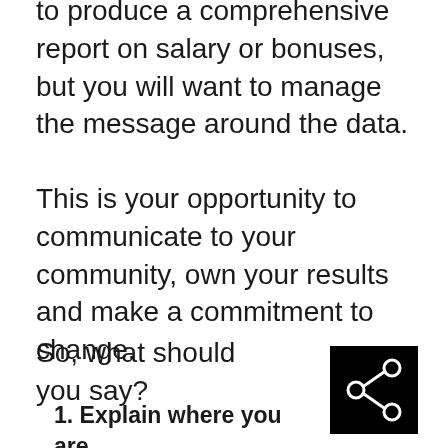your data only. There is no requirement to produce a comprehensive report on salary or bonuses, but you will want to manage the message around the data.
This is your opportunity to communicate to your community, own your results and make a commitment to change.
So, what should you say?
1. Explain where you are